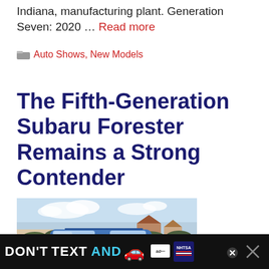Indiana, manufacturing plant. Generation Seven: 2020 … Read more
Auto Shows, New Models
The Fifth-Generation Subaru Forester Remains a Strong Contender
[Figure (photo): Blue Subaru Forester SUV parked outdoors with hedges and houses in background]
[Figure (infographic): DON'T TEXT AND [car emoji] advertisement banner, NHTSA]